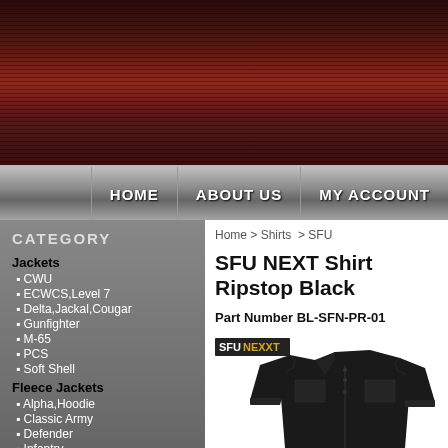HOME | ABOUT US | MY ACCOUNT
Home > Shirts > SFU
SFU NEXT Shirt Ripstop Black
Part Number BL-SFN-PR-01
CATEGORY
Jackets
CWU
ECWCS,Level 7
Delta,Jackal,Cougar
Gunfighter
M-65
PCS
Soft Shell
Fleece Jackets
Alpha,Hoodie
Classic Army
Defender
Infantry
Liberty
Patriot
Windblocker
Cumulus , Stratus
Shirts
[Figure (photo): SFU NEXT Shirt Ripstop Black product photo showing a black tactical shirt]